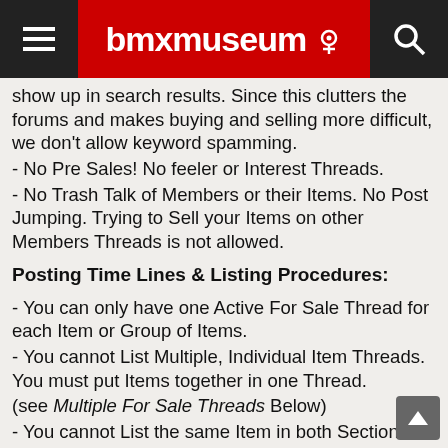bmxmuseum
show up in search results. Since this clutters the forums and makes buying and selling more difficult, we don't allow keyword spamming.
- No Pre Sales! No feeler or Interest Threads.
- No Trash Talk of Members or their Items. No Post Jumping. Trying to Sell your Items on other Members Threads is not allowed.
Posting Time Lines & Listing Procedures:
- You can only have one Active For Sale Thread for each Item or Group of Items.
- You cannot List Multiple, Individual Item Threads. You must put Items together in one Thread.
(see Multiple For Sale Threads Below)
- You cannot List the same Item in both Sections at the same time.
- Once an Item has been Listed For Sale, you must wait 72 hours before re-listing it in either Section.
- When re-listing an Item you need to mark the previous Thread SOLD.
- When a Single Item Sells in a Multiple Item Thread, Mark It SOLD within the Thread like this ( $25.00 -- Sold )